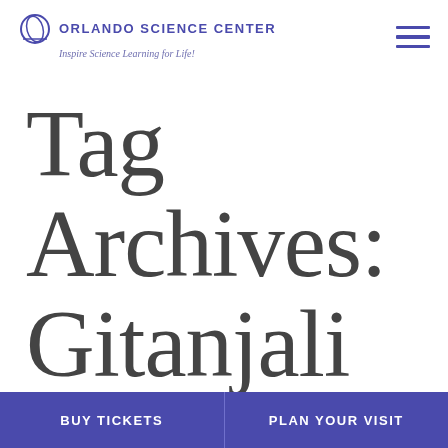ORLANDO SCIENCE CENTER — Inspire Science Learning for Life!
Tag Archives: Gitanjali
BUY TICKETS | PLAN YOUR VISIT